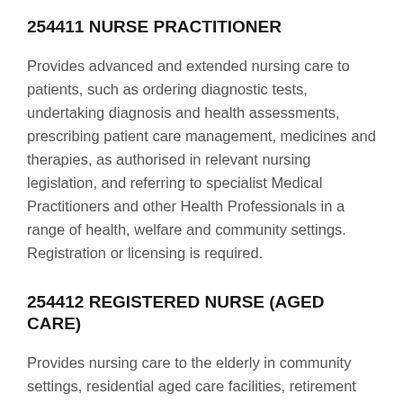254411 NURSE PRACTITIONER
Provides advanced and extended nursing care to patients, such as ordering diagnostic tests, undertaking diagnosis and health assessments, prescribing patient care management, medicines and therapies, as authorised in relevant nursing legislation, and referring to specialist Medical Practitioners and other Health Professionals in a range of health, welfare and community settings. Registration or licensing is required.
254412 REGISTERED NURSE (AGED CARE)
Provides nursing care to the elderly in community settings, residential aged care facilities, retirement villages and health care facilities. Registration or